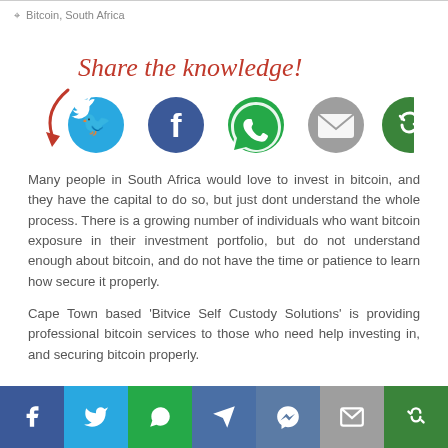Bitcoin, South Africa
[Figure (infographic): Share the knowledge! call-to-action with curved red arrow pointing to social share icons: Twitter (blue), Facebook (dark blue), WhatsApp (green), Email (grey), Share (dark green)]
Many people in South Africa would love to invest in bitcoin, and they have the capital to do so, but just dont understand the whole process. There is a growing number of individuals who want bitcoin exposure in their investment portfolio, but do not understand enough about bitcoin, and do not have the time or patience to learn how secure it properly.
Cape Town based 'Bitvice Self Custody Solutions' is providing professional bitcoin services to those who need help investing in, and securing bitcoin properly.
[Figure (infographic): Bottom social share bar with icons: Facebook (dark blue), Twitter (light blue), WhatsApp (green), Telegram (medium blue), Messenger (medium blue), Email (grey), Share (dark green)]